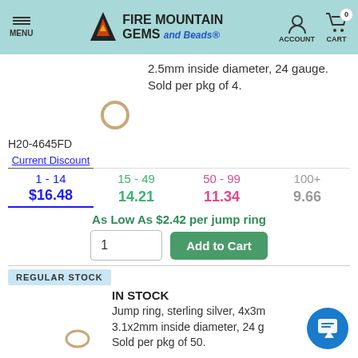MENU | Fire Mountain Gems and Beads | ACCOUNT | CART 0
2.5mm inside diameter, 24 gauge. Sold per pkg of 4.
H20-4645FD
| Current Discount | 15 - 49 | 50 - 99 | 100+ |
| --- | --- | --- | --- |
| 1 - 14 | 15 - 49 | 50 - 99 | 100+ |
| $16.48 | 14.21 | 11.34 | 9.66 |
As Low As $2.42 per jump ring
REGULAR STOCK
IN STOCK
Jump ring, sterling silver, 4x3mm, 3.1x2mm inside diameter, 24 gauge. Sold per pkg of 50.